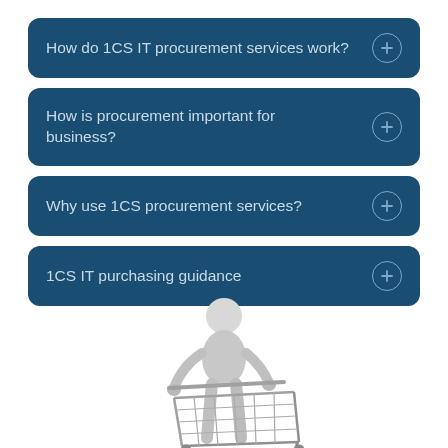How do 1CS IT procurement services work?
How is procurement important for business?
Why use 1CS procurement services?
1CS IT purchasing guidance
[Figure (illustration): 3D white figure character pushing a shopping cart, viewed from the side/front, partially cropped at the bottom of the page]